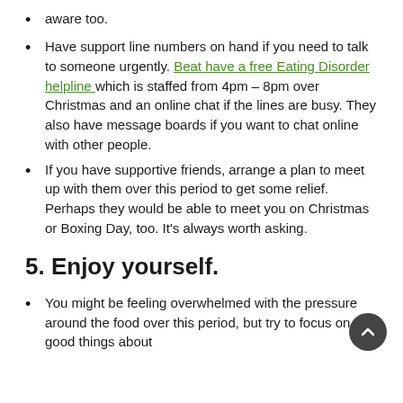aware too.
Have support line numbers on hand if you need to talk to someone urgently. Beat have a free Eating Disorder helpline which is staffed from 4pm – 8pm over Christmas and an online chat if the lines are busy. They also have message boards if you want to chat online with other people.
If you have supportive friends, arrange a plan to meet up with them over this period to get some relief. Perhaps they would be able to meet you on Christmas or Boxing Day, too. It's always worth asking.
5. Enjoy yourself.
You might be feeling overwhelmed with the pressure around the food over this period, but try to focus on the good things about Christmas. You are likely to be with family